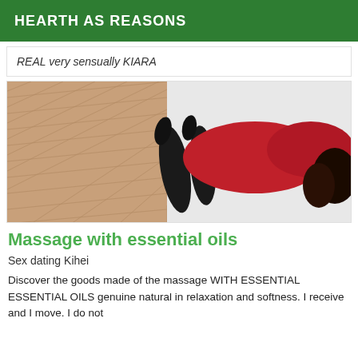HEARTH AS REASONS
REAL very sensually KIARA
[Figure (photo): A person wearing a red dress lying on a parquet floor, viewed from above]
Massage with essential oils
Sex dating Kihei
Discover the goods made of the massage WITH ESSENTIAL ESSENTIAL OILS genuine natural in relaxation and softness. I receive and I move. I do not